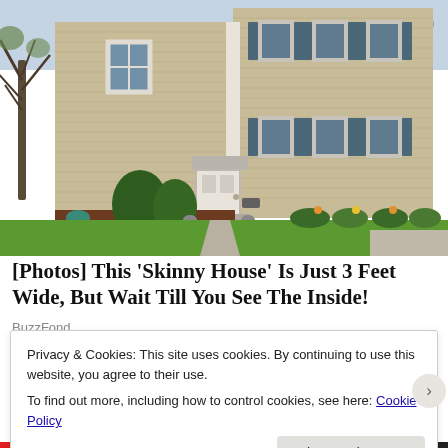[Figure (photo): Exterior photo of a two-story beige colonial-style house with teal/blue shutters, white columns, a white front door with transom, evergreen shrubs, and a green lawn. Bare trees visible on left and right sides.]
[Photos] This 'Skinny House' Is Just 3 Feet Wide, But Wait Till You See The Inside!
BuzzFond
Privacy & Cookies: This site uses cookies. By continuing to use this website, you agree to their use.
To find out more, including how to control cookies, see here: Cookie Policy
Close and accept